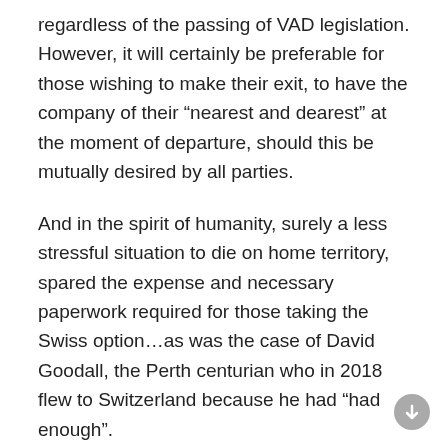regardless of the passing of VAD legislation. However, it will certainly be preferable for those wishing to make their exit, to have the company of their “nearest and dearest” at the moment of departure, should this be mutually desired by all parties.
And in the spirit of humanity, surely a less stressful situation to die on home territory, spared the expense and necessary paperwork required for those taking the Swiss option…as was the case of David Goodall, the Perth centurian who in 2018 flew to Switzerland because he had “had enough”.
I have been informed that Dan Purdie MP is to survey his constituents aged 50 years plus, and I